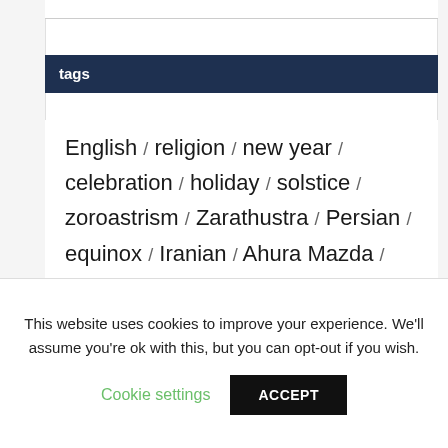tags
English / religion / new year / celebration / holiday / solstice / zoroastrism / Zarathustra / Persian / equinox / Iranian / Ahura Mazda / amesha spenta / Gatha / new beginning / Nowruz / amesha sepand
This website uses cookies to improve your experience. We'll assume you're ok with this, but you can opt-out if you wish.
Cookie settings   ACCEPT